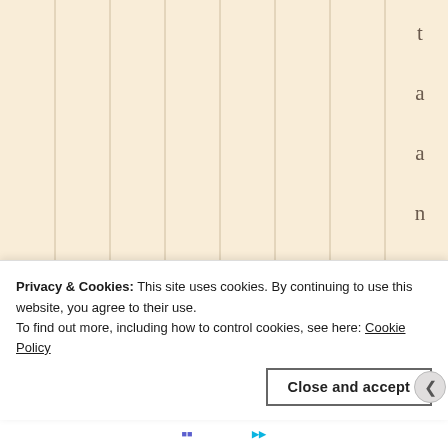[Figure (other): Background with vertical ruled lines on cream/beige paper color, with letters 't a a n d h a d b e e n' displayed vertically along the right margin]
Privacy & Cookies: This site uses cookies. By continuing to use this website, you agree to their use.
To find out more, including how to control cookies, see here: Cookie Policy